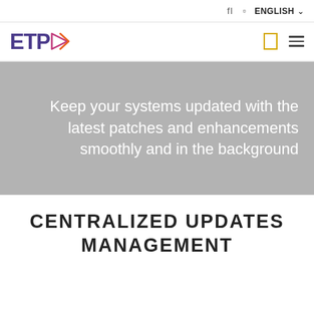fl  □  ENGLISH ∨
[Figure (logo): ETPA logo with purple text and pink/orange arrow play button icon, followed by a gold/yellow outlined box icon and a hamburger menu icon on the right]
Keep your systems updated with the latest patches and enhancements smoothly and in the background
CENTRALIZED UPDATES MANAGEMENT